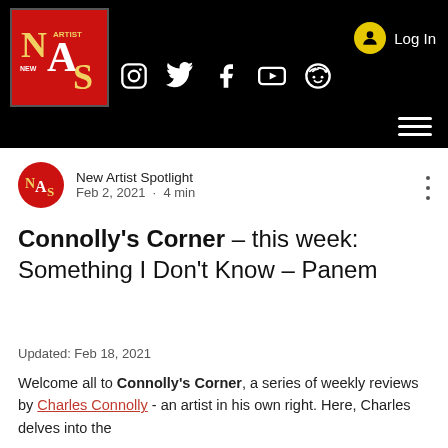[Figure (screenshot): New Artist Spotlight website navigation bar with logo, social media icons (Instagram, Twitter, Facebook, YouTube, Reddit), Log In button, and hamburger menu on black background.]
New Artist Spotlight
Feb 2, 2021  •  4 min
Connolly's Corner – this week: Something I Don't Know – Panem
Updated: Feb 18, 2021
Welcome all to Connolly's Corner, a series of weekly reviews by Charles Connolly - an artist in his own right. Here, Charles delves into the